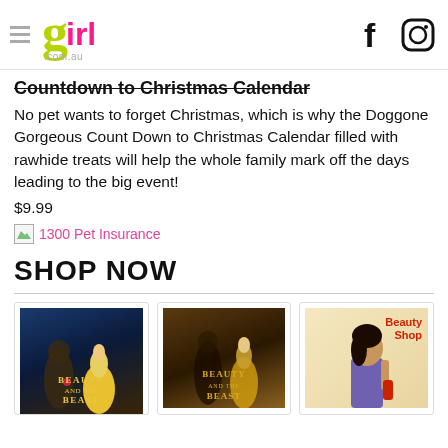girl.com.au
Countdown to Christmas Calendar
No pet wants to forget Christmas, which is why the Doggone Gorgeous Count Down to Christmas Calendar filled with rawhide treats will help the whole family mark off the days leading to the big event!
$9.99
1300 Pet Insurance
SHOP NOW
[Figure (illustration): Three movie/product cards: Beauty and the Beast animated, Beauty and the Beast live action, and Beauty Shop]
Beauty and the Beast (animated) | Beauty and the Beast (live action) | Beauty Shop